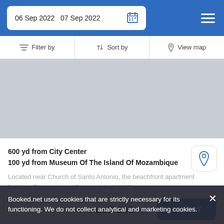06 Sep 2022   07 Sep 2022
Filter by   Sort by   View map
[Figure (photo): Gray placeholder image for a property listing photo]
600 yd from City Center
100 yd from Museum Of The Island Of Mozambique
Located near Church of Santo Antonio, the beachfront apartment features 6 rooms as well as an private bathroom.
from  us$ 141/night
SELECT
Similar properties near Ilha de Moçambique
Booked.net uses cookies that are strictly necessary for its functioning. We do not collect analytical and marketing cookies.